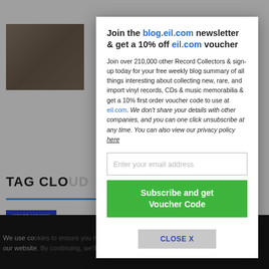[Figure (screenshot): Background website page showing a blog with a photo of people, tag cloud section with blue tag buttons (#180GRAMVINYL, #AUTOGRAPHED, #COLLEC..., #IRONMAIDEN), and a dark cookie consent bar at the bottom.]
Join the blog.eil.com newsletter & get a 10% off eil.com voucher
Join over 210,000 other Record Collectors & sign-up today for your free weekly blog summary of all things interesting about collecting new, rare, and import vinyl records, CDs & music memorabilia & get a 10% first order voucher code to use at eil.com. We don't share your details with other companies, and you can one click unsubscribe at any time. You can also view our privacy policy here
Enter your email address
Subscribe and get Voucher Code
CLOSE X